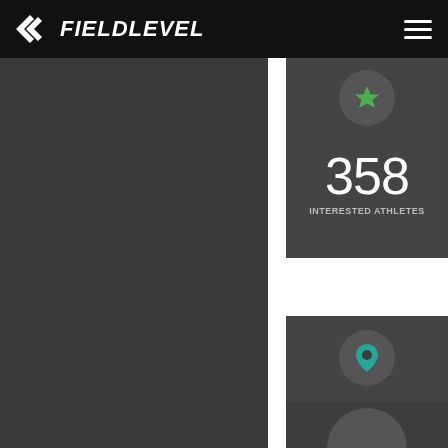FIELDLEVEL
[Figure (infographic): Dark left sidebar area]
[Figure (infographic): Interested athletes card showing 358 with green star icon]
358
INTERESTED ATHLETES
[Figure (infographic): Location pin card with teal map pin icon]
[Figure (photo): Partial image of person at bottom]